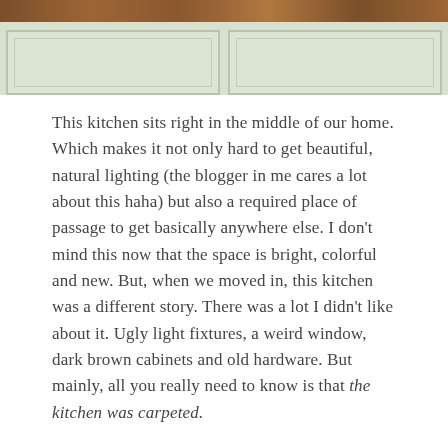[Figure (photo): Top portion of a kitchen photo showing wood countertop edge at top and light-colored cabinet doors below, with a light sage/mint green color scheme.]
This kitchen sits right in the middle of our home. Which makes it not only hard to get beautiful, natural lighting (the blogger in me cares a lot about this haha) but also a required place of passage to get basically anywhere else. I don't mind this now that the space is bright, colorful and new. But, when we moved in, this kitchen was a different story. There was a lot I didn't like about it. Ugly light fixtures, a weird window, dark brown cabinets and old hardware. But mainly, all you really need to know is that the kitchen was carpeted.
The whole time I was ripping it out, I just kept thinking "what was wrong with everyone in the 70's?!" I know it was kind of a thing to do back